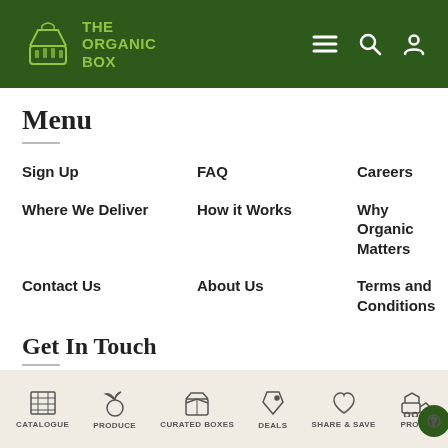THE ORGANIC BOX — navigation header with menu, search, and user icons
Menu
Sign Up
FAQ
Careers
Where We Deliver
How it Works
Why Organic Matters
Contact Us
About Us
Terms and Conditions
Get In Touch
Toll Free: 1-877-469-1920
Telephone: 780-469-1900
Fax: 780-469-1971
CATALOGUE | PRODUCE | CURATED BOXES | DEALS | SHARE & SAVE | PRODU...